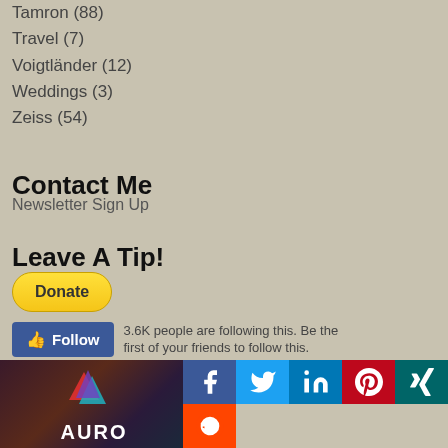Tamron (88)
Travel (7)
Voigtländer (12)
Weddings (3)
Zeiss (54)
Contact Me
Newsletter Sign Up
Leave A Tip!
[Figure (other): Yellow PayPal Donate button]
[Figure (other): Facebook Follow widget with text: 3.6K people are following this. Be the first of your friends to follow this.]
[Figure (other): Social media sharing icons: Facebook, Twitter, LinkedIn, Pinterest, XING, Reddit. Plus Aurora photo/logo image at bottom left.]